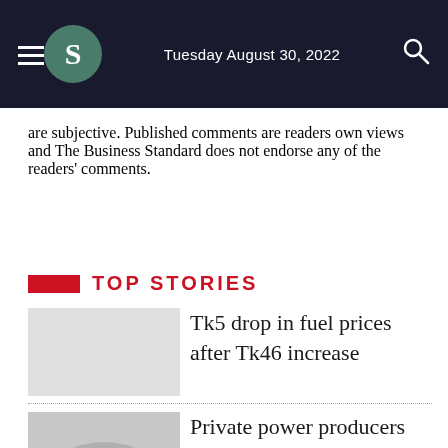Tuesday August 30, 2022
are subjective. Published comments are readers own views and The Business Standard does not endorse any of the readers' comments.
Top Stories
Tk5 drop in fuel prices after Tk46 increase
Private power producers for Tk4,400cr loss due to